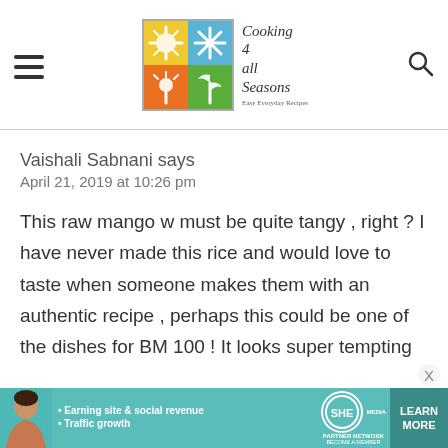Cooking 4 all Seasons — Easy Everyday Recipes
Vaishali Sabnani says
April 21, 2019 at 10:26 pm
This raw mango w must be quite tangy , right ? I have never made this rice and would love to taste when someone makes them with an authentic recipe , perhaps this could be one of the dishes for BM 100 ! It looks super tempting
[Figure (infographic): SHE Partner Network advertisement banner with photo of woman, bullet points about earning site & social revenue and traffic growth, SHE logo, and LEARN MORE button]